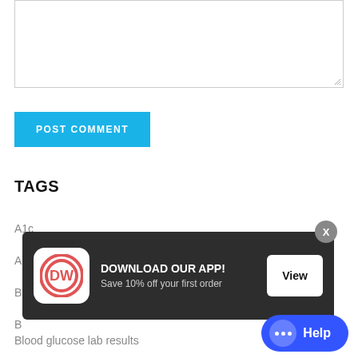[Figure (screenshot): Empty textarea input box with resize handle in bottom-right corner]
POST COMMENT
TAGS
A1c
A
B
B
Blood glucose lab results
[Figure (screenshot): App download banner overlay with DW logo, text 'DOWNLOAD OUR APP! Save 10% off your first order', View button, and X close button. Also shows blue Help chat button.]